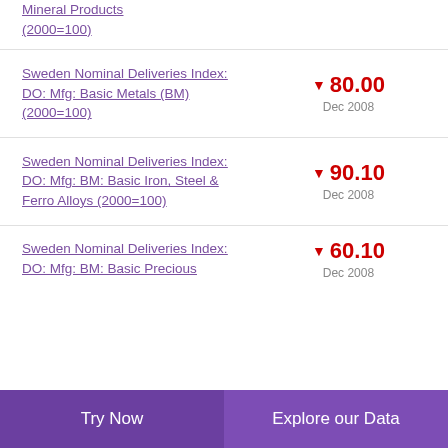Mineral Products (2000=100)
Sweden Nominal Deliveries Index: DO: Mfg: Basic Metals (BM) (2000=100) ▼ 80.00 Dec 2008
Sweden Nominal Deliveries Index: DO: Mfg: BM: Basic Iron, Steel & Ferro Alloys (2000=100) ▼ 90.10 Dec 2008
Sweden Nominal Deliveries Index: DO: Mfg: BM: Basic Precious ▼ 60.10 Dec 2008
Try Now    Explore our Data